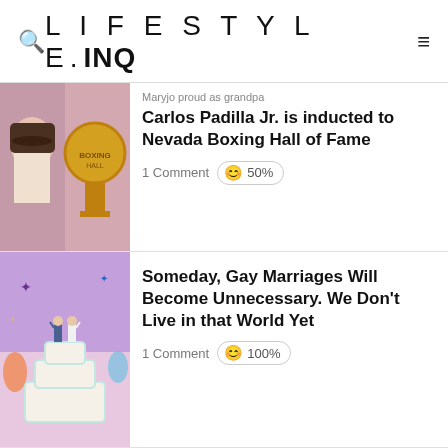LIFESTYLE.INQ
Maryjo proud as grandpa Carlos Padilla Jr. is inducted to Nevada Boxing Hall of Fame
1 Comment  😊 50%
Someday, Gay Marriages Will Become Unnecessary. We Don't Live in that World Yet
1 Comment  😊 100%
LOOK: Ice Seguerra in sweet 2002 throwback moment with Liza Diño